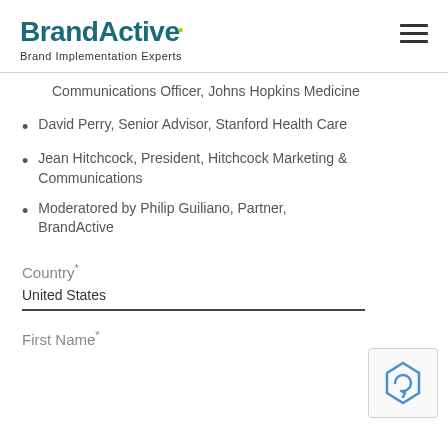BrandActive — Brand Implementation Experts
Communications Officer, Johns Hopkins Medicine
David Perry, Senior Advisor, Stanford Health Care
Jean Hitchcock, President, Hitchcock Marketing & Communications
Moderatored by Philip Guiliano, Partner, BrandActive
Country*
United States
First Name*